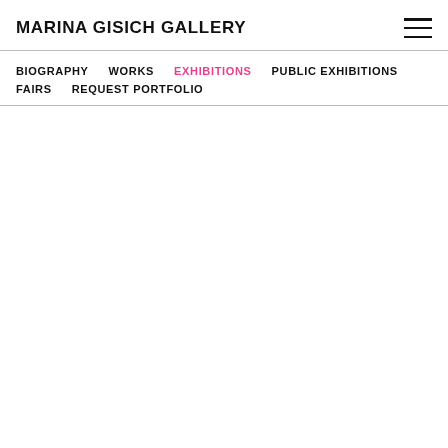MARINA GISICH GALLERY
BIOGRAPHY  WORKS  EXHIBITIONS  PUBLIC EXHIBITIONS  FAIRS  REQUEST PORTFOLIO